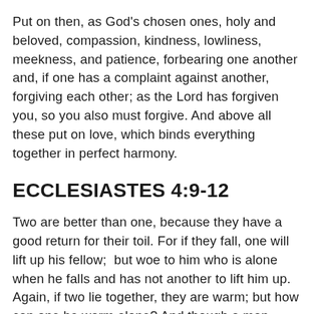Put on then, as God's chosen ones, holy and beloved, compassion, kindness, lowliness, meekness, and patience, forbearing one another and, if one has a complaint against another, forgiving each other; as the Lord has forgiven you, so you also must forgive. And above all these put on love, which binds everything together in perfect harmony.
ECCLESIASTES 4:9-12
Two are better than one, because they have a good return for their toil. For if they fall, one will lift up his fellow;  but woe to him who is alone when he falls and has not another to lift him up. Again, if two lie together, they are warm; but how can one be warm alone? And though a man might prevail against one who is alone, two will withstand him.